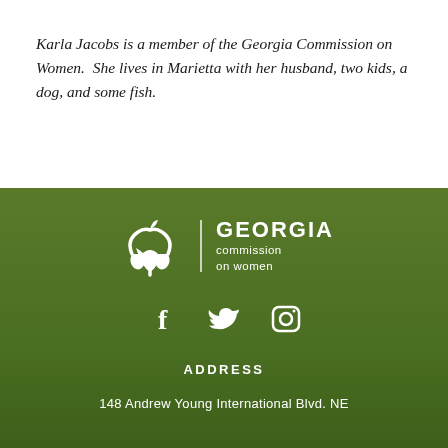Karla Jacobs is a member of the Georgia Commission on Women.  She lives in Marietta with her husband, two kids, a dog, and some fish.
[Figure (logo): Georgia Commission on Women logo: white stylized tulip/woman icon with a vertical divider line and text 'GEORGIA commission on women' in white on green background]
[Figure (infographic): Social media icons: Facebook (f), Twitter (bird), and Instagram (camera) in white on green background]
ADDRESS
148 Andrew Young International Blvd. NE